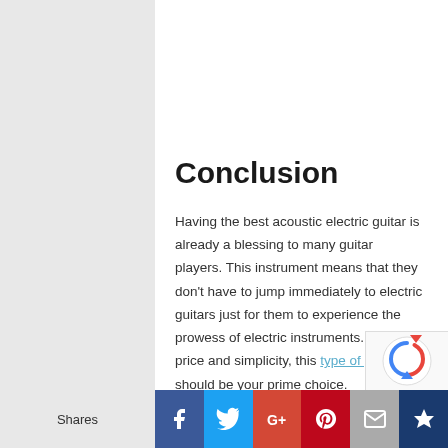[Figure (logo): Black banner with a colorful diamond/chevron logo and text, framed with an orange border]
Conclusion
Having the best acoustic electric guitar is already a blessing to many guitar players. This instrument means that they don't have to jump immediately to electric guitars just for them to experience the prowess of electric instruments. For the price and simplicity, this type of guitar should be your prime choice.
Shares | Facebook | Twitter | Google+ | Pinterest | Email | Crown